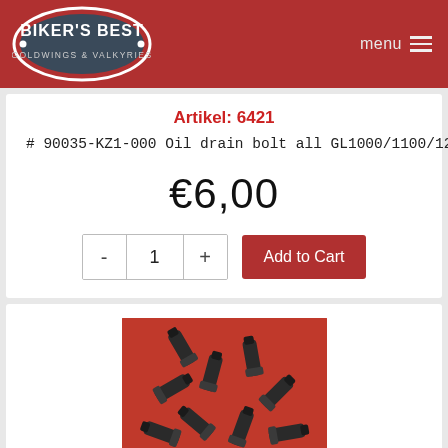[Figure (logo): Biker's Best Goldwings & Valkyries oval logo on red header bar with menu icon]
Artikel: 6421
# 90035-KZ1-000 Oil drain bolt all GL1000/1100/1200 mo...
€6,00
- 1 + Add to Cart
[Figure (photo): Multiple small metal oil drain bolts scattered on a red background]